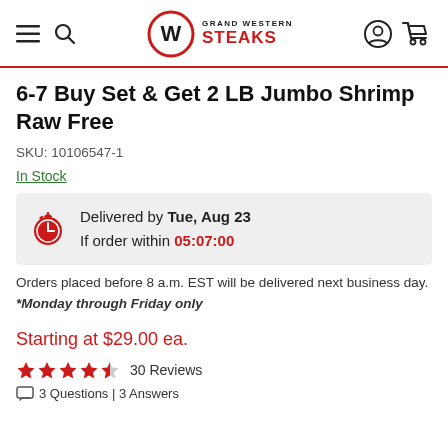Grand Western Steaks — navigation header
6-7 Buy Set & Get 2 LB Jumbo Shrimp Raw Free
SKU: 10106547-1
In Stock
Delivered by Tue, Aug 23 If order within 05:07:00
Orders placed before 8 a.m. EST will be delivered next business day. *Monday through Friday only
Starting at $29.00 ea.
30 Reviews
3 Questions | 3 Answers